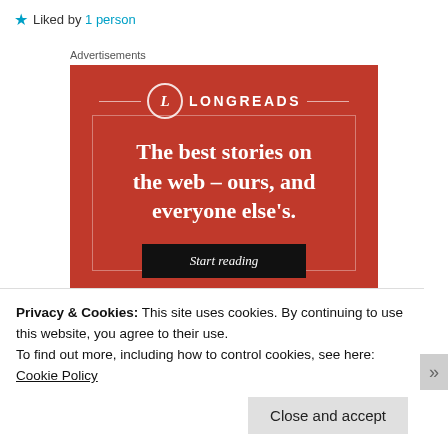★ Liked by 1 person
Advertisements
[Figure (infographic): Longreads advertisement banner on red background. Logo with circle 'L' and text LONGREADS with decorative horizontal lines. Large white serif text reads 'The best stories on the web – ours, and everyone else's.' with a dark 'Start reading' button below.]
Privacy & Cookies: This site uses cookies. By continuing to use this website, you agree to their use.
To find out more, including how to control cookies, see here:
Cookie Policy
Close and accept